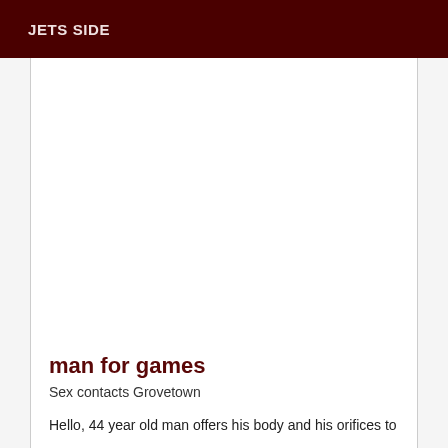JETS SIDE
man for games
Sex contacts Grovetown
Hello, 44 year old man offers his body and his orifices to